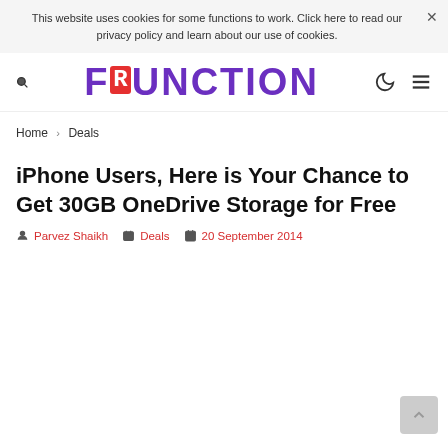This website uses cookies for some functions to work. Click here to read our privacy policy and learn about our use of cookies.
[Figure (logo): FRUNCTION logo in large bold purple text with a red pixel-art R box icon]
Home > Deals
iPhone Users, Here is Your Chance to Get 30GB OneDrive Storage for Free
Parvez Shaikh   Deals   20 September 2014